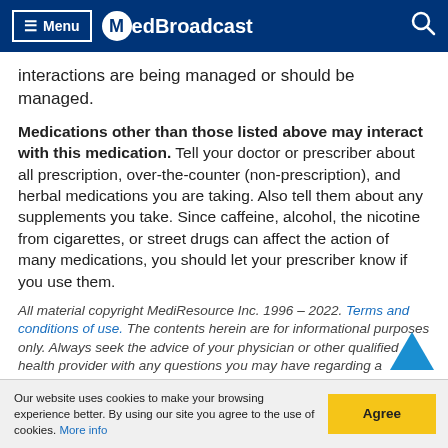Menu | MedBroadcast
interactions are being managed or should be managed.
Medications other than those listed above may interact with this medication. Tell your doctor or prescriber about all prescription, over-the-counter (non-prescription), and herbal medications you are taking. Also tell them about any supplements you take. Since caffeine, alcohol, the nicotine from cigarettes, or street drugs can affect the action of many medications, you should let your prescriber know if you use them.
All material copyright MediResource Inc. 1996 – 2022. Terms and conditions of use. The contents herein are for informational purposes only. Always seek the advice of your physician or other qualified health provider with any questions you may have regarding a medical
Our website uses cookies to make your browsing experience better. By using our site you agree to the use of cookies. More info